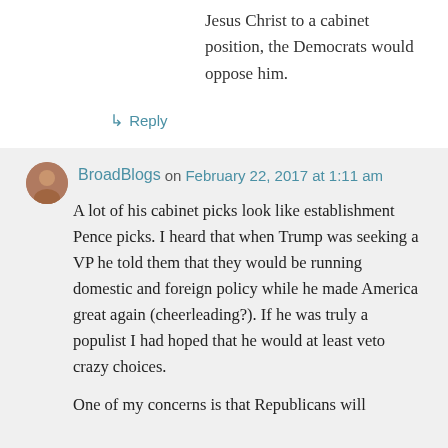Jesus Christ to a cabinet position, the Democrats would oppose him.
↳ Reply
BroadBlogs on February 22, 2017 at 1:11 am
A lot of his cabinet picks look like establishment Pence picks. I heard that when Trump was seeking a VP he told them that they would be running domestic and foreign policy while he made America great again (cheerleading?). If he was truly a populist I had hoped that he would at least veto crazy choices.
One of my concerns is that Republicans will